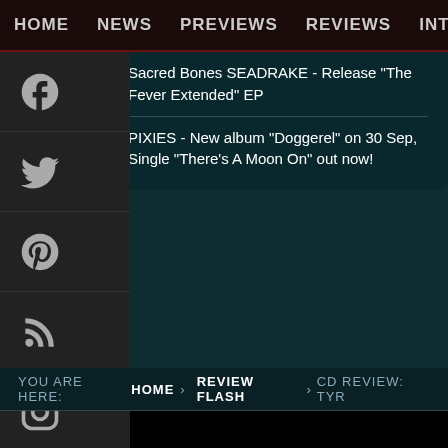HOME  NEWS  PREVIEWS  REVIEWS  INTERVI
Sacred Bones SEADRAKE - Release “The Fever Extended” EP
PIXIES - New album “Doggerel” on 30 Sep, Single “There’s A Moon On” out now!
[Figure (screenshot): Social media sidebar icons: Facebook, Twitter, Pinterest, RSS, Instagram]
[Figure (photo): Dark teal textured background image]
YOU ARE HERE:  HOME  REVIEW FLASH  CD REVIEW: TYR